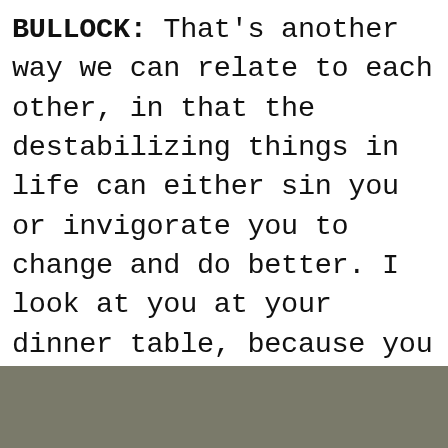BULLOCK: That's another way we can relate to each other, in that the destabilizing things in life can either sin you or invigorate you to change and do better. I look at you at your dinner table, because you sit at the same place all the time, and you are surrounded by these extraordinary people that you've known for so long. Everyone is along for the journey, and you share. The conversation about women supporting each other and coming together is new.
[Figure (photo): Partial view of a grey-brown image (photo) at the bottom of the page, mostly cropped.]